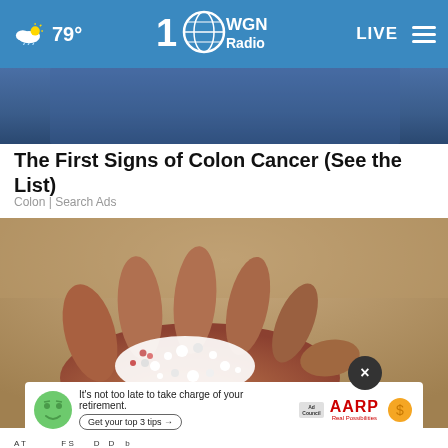79° WGN Radio LIVE
[Figure (photo): Partial view of jeans waistline — top image strip]
The First Signs of Colon Cancer (See the List)
Colon | Search Ads
[Figure (photo): Close-up photo of a hand holding white granular particles/powder on sandy surface]
[Figure (infographic): AARP advertisement banner: 'It's not too late to take charge of your retirement. Get your top 3 tips →' with Ad Council logo and AARP logo]
A T                    F S         D    D     b